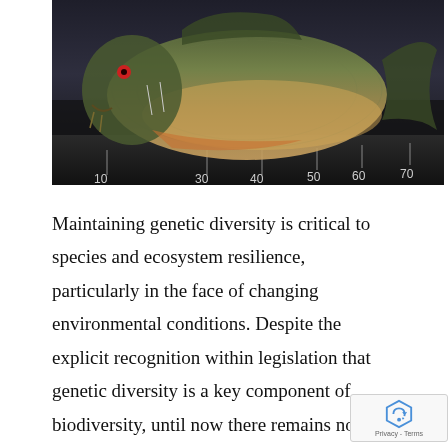[Figure (photo): A fish (appears to be a carp or bream) lying on a measuring ruler/board. The fish is shown from the side against a dark background, with a measurement scale visible beneath it showing numbers 10, 30, 40, 50, 60, 70.]
Maintaining genetic diversity is critical to species and ecosystem resilience, particularly in the face of changing environmental conditions. Despite the explicit recognition within legislation that genetic diversity is a key component of biodiversity, until now there remains no consistent or practical guidelines for the management of these resources. This report provides guidance and resources for the management of genetic resources within the Murray-Darling Basin and will contribute to